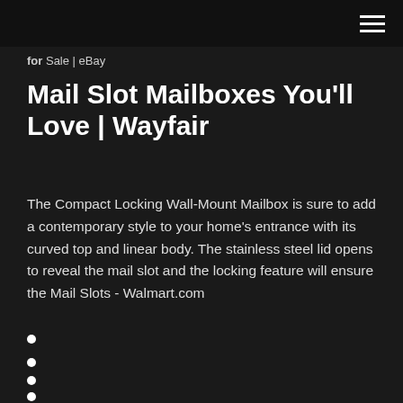for Sale | eBay
Mail Slot Mailboxes You'll Love | Wayfair
The Compact Locking Wall-Mount Mailbox is sure to add a contemporary style to your home's entrance with its curved top and linear body. The stainless steel lid opens to reveal the mail slot and the locking feature will ensure the Mail Slots - Walmart.com